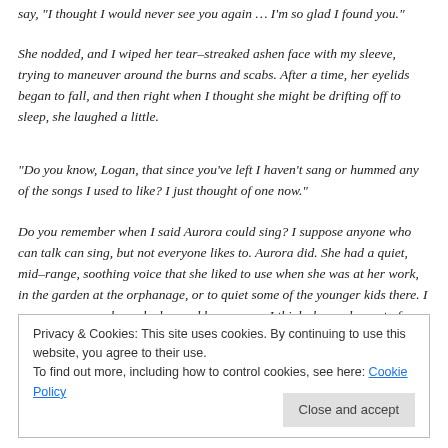say, “I thought I would never see you again… I’m so glad I found you.”
She nodded, and I wiped her tear–streaked ashen face with my sleeve, trying to maneuver around the burns and scabs. After a time, her eyelids began to fall, and then right when I thought she might be drifting off to sleep, she laughed a little.
“Do you know, Logan, that since you’ve left I haven’t sang or hummed any of the songs I used to like? I just thought of one now.”
Do you remember when I said Aurora could sing? I suppose anyone who can talk can sing, but not everyone likes to. Aurora did. She had a quiet, mid–range, soothing voice that she liked to use when she was at her work, in the garden at the orphanage, or to quiet some of the younger kids there. I was never sure where she learned her songs – I think she made most of them up – and was never sure how she
Privacy & Cookies: This site uses cookies. By continuing to use this website, you agree to their use.
To find out more, including how to control cookies, see here: Cookie Policy